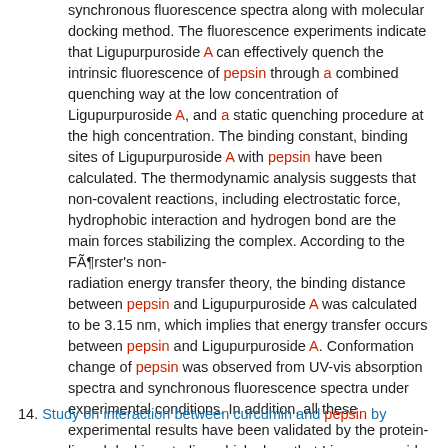synchronous fluorescence spectra along with molecular docking method. The fluorescence experiments indicate that Ligupurpuroside A can effectively quench the intrinsic fluorescence of pepsin through a combined quenching way at the low concentration of Ligupurpuroside A, and a static quenching procedure at the high concentration. The binding constant, binding sites of Ligupurpuroside A with pepsin have been calculated. The thermodynamic analysis suggests that non-covalent reactions, including electrostatic force, hydrophobic interaction and hydrogen bond are the main forces stabilizing the complex. According to the Förster's non-radiation energy transfer theory, the binding distance between pepsin and Ligupurpuroside A was calculated to be 3.15 nm, which implies that energy transfer occurs between pepsin and Ligupurpuroside A. Conformation change of pepsin was observed from UV-vis absorption spectra and synchronous fluorescence spectra under experimental conditions. In addition, all these experimental results have been validated by the protein-ligand docking studies which show that Ligupurpuroside A is located in the cleft between the domains of pepsin. Copyright © 2014 Elsevier B.V. All rights reserved.
14. Study on interaction between curcumin and pepsin by